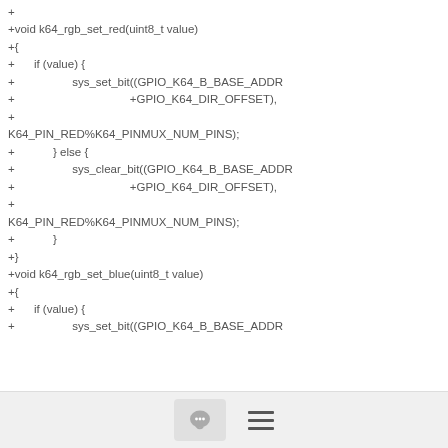+
+void k64_rgb_set_red(uint8_t value)
+{
+      if (value) {
+                  sys_set_bit((GPIO_K64_B_BASE_ADDR
+                                    +GPIO_K64_DIR_OFFSET),
+
K64_PIN_RED%K64_PINMUX_NUM_PINS);
+            } else {
+                  sys_clear_bit((GPIO_K64_B_BASE_ADDR
+                                    +GPIO_K64_DIR_OFFSET),
+
K64_PIN_RED%K64_PINMUX_NUM_PINS);
+            }
+}
+void k64_rgb_set_blue(uint8_t value)
+{
+      if (value) {
+                  sys_set_bit((GPIO_K64_B_BASE_ADDR
[Figure (other): Footer bar with chat bubble icon button and hamburger menu icon]